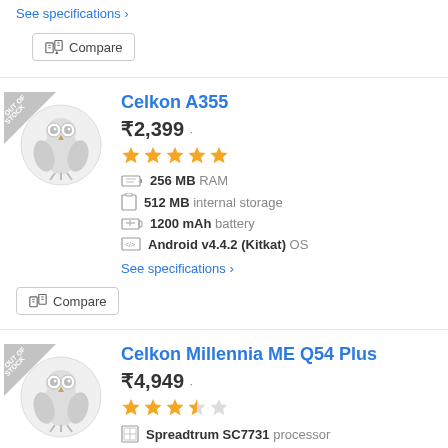See specifications ›
Compare
Celkon A355
₹2,399
★★★★★ (5 stars)
256 MB RAM
512 MB internal storage
1200 mAh battery
Android v4.4.2 (Kitkat) OS
See specifications ›
Compare
Celkon Millennia ME Q54 Plus
₹4,949
★★★☆☆ (3 stars)
Spreadtrum SC7731 processor
1 GB RAM